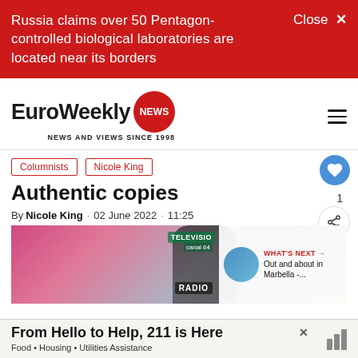Russia claims over 50 Pentagon-controlled biological laboratories are located near its borders
[Figure (logo): EuroWeekly NEWS logo with red circle badge and tagline NEWS AND VIEWS SINCE 1998]
Columnists
Nicole King
Authentic copies
By Nicole King · 02 June 2022 · 11:25
[Figure (photo): People wearing bowler hats with Televisa canal 64 and RADIO signage in background]
WHAT'S NEXT → Out and about in Marbella -...
From Hello to Help, 211 is Here
Food • Housing • Utilities Assistance